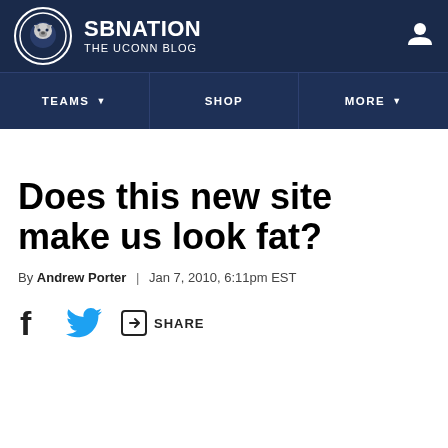SB NATION — THE UCONN BLOG
Does this new site make us look fat?
By Andrew Porter | Jan 7, 2010, 6:11pm EST
[Figure (infographic): Share bar with Facebook, Twitter, and Share icons]